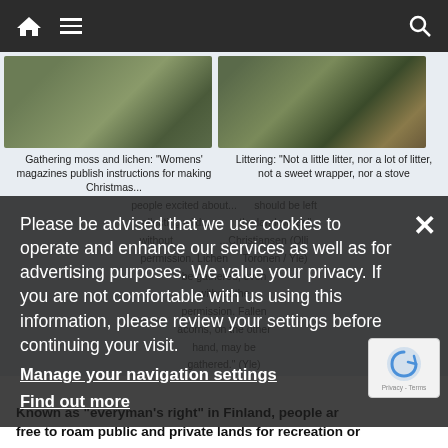Navigation bar with home icon, menu icon, and search icon
[Figure (photo): Photo of moss and lichen on rocks/forest floor]
[Figure (photo): Photo of littering/garbage in natural area]
Gathering moss and lichen: "Womens' magazines publish instructions for making Christmas... people excited about... collecting wild... without permission. Lichen... be gathered, even... without the... permission. Fallen... acorns, on the other hand, may be gathered." (Yle)
Littering: "Not a little litter, nor a lot of litter, not a sweet wrapper, nor a stove should be left... the landowner".... Christiansen (Olli Toronen / Yle)
Please be advised that we use cookies to operate and enhance our services as well as for advertising purposes. We value your privacy. If you are not comfortable with us using this information, please review your settings before continuing your visit.
Manage your navigation settings
Find out more
Known as "everyman's right" in Finland, people are free to roam public and private lands for recreation or